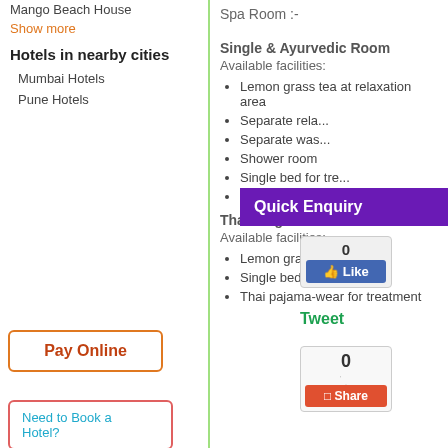Mango Beach House
Show more
Hotels in nearby cities
Mumbai Hotels
Pune Hotels
Pay Online
Need to Book a Hotel?
Spa Room :-
Single & Ayurvedic Room
Available facilities:
Lemon grass tea at relaxation area
Separate rela...
Separate was...
Shower room
Single bed for tre...
Wardrobe
Thai Single Suite
Available facilities:
Lemon grass tea... area
Single bed for tre...
Thai pajama-wear for treatment